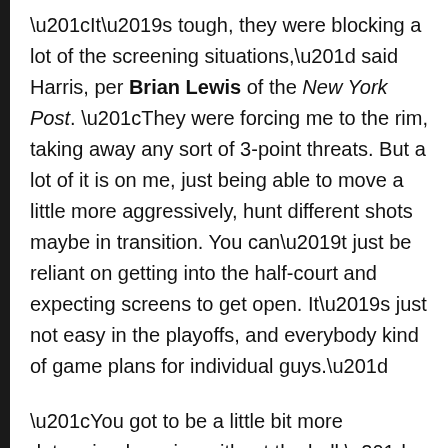“It’s tough, they were blocking a lot of the screening situations,” said Harris, per Brian Lewis of the New York Post. “They were forcing me to the rim, taking away any sort of 3-point threats. But a lot of it is on me, just being able to move a little more aggressively, hunt different shots maybe in transition. You can’t just be reliant on getting into the half-court and expecting screens to get open. It’s just not easy in the playoffs, and everybody kind of game plans for individual guys.”
“You got to be a little bit more determined moving without the ball.”